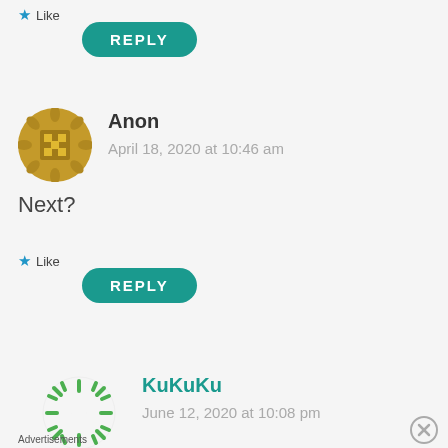★ Like
REPLY
[Figure (illustration): Golden/brown decorative avatar icon with geometric floral pattern for user Anon]
Anon
April 18, 2020 at 10:46 am
Next?
★ Like
REPLY
[Figure (illustration): Green dashed circular loading spinner style avatar for user KuKuKu]
KuKuKu
June 12, 2020 at 10:08 pm
Advertisements
[Figure (photo): Victoria's Secret advertisement banner with woman, VS logo, text SHOP THE COLLECTION and SHOP NOW button on pink background]